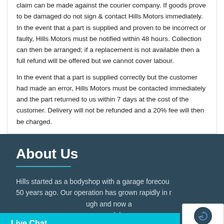claim can be made against the courier company. If goods prove to be damaged do not sign & contact Hills Motors immediately. In the event that a part is supplied and proven to be incorrect or faulty, Hills Motors must be notified within 48 hours. Collection can then be arranged; if a replacement is not available then a full refund will be offered but we cannot cover labour.
In the event that a part is supplied correctly but the customer had made an error, Hills Motors must be contacted immediately and the part returned to us within 7 days at the cost of the customer. Delivery will not be refunded and a 20% fee will then be charged.
About Us
Hills started as a bodyshop with a garage forecou… 50 years ago. Our operation has grown rapidly in r… ugh and now a… mersdale